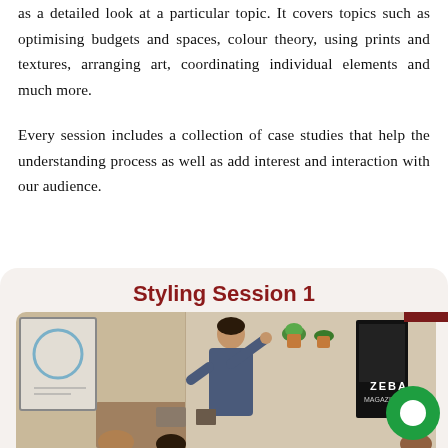as a detailed look at a particular topic. It covers topics such as optimising budgets and spaces, colour theory, using prints and textures, arranging art, coordinating individual elements and much more.
Every session includes a collection of case studies that help the understanding process as well as add interest and interaction with our audience.
Styling Session 1
[Figure (photo): A photo of a woman presenting or teaching in a room, with a whiteboard showing a circular diagram on the left, plants and a magazine/poster in the background, and attendees visible at the bottom.]